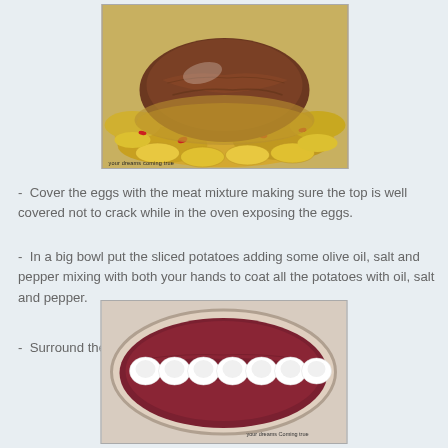[Figure (photo): Cooked meatloaf surrounded by sliced potatoes and red peppers in a baking dish, with watermark 'your dreams coming true']
-  Cover the eggs with the meat mixture making sure the top is well covered not to crack while in the oven exposing the eggs.
-  In a big bowl put the sliced potatoes adding some olive oil, salt and pepper mixing with both your hands to coat all the potatoes with oil, salt and pepper.
-  Surround the meatloaf with the potatoes
[Figure (photo): Raw meatloaf mixture in a baking dish with a row of white hard-boiled eggs placed in the center, with watermark 'your dreams Coming true']